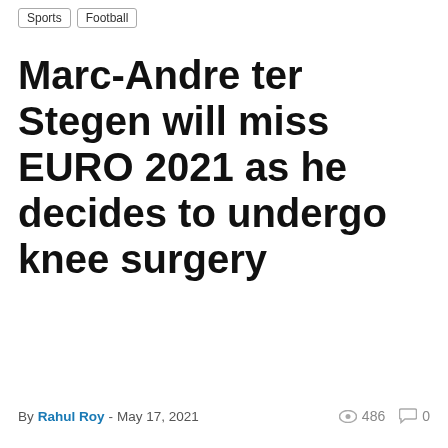Sports | Football
Marc-Andre ter Stegen will miss EURO 2021 as he decides to undergo knee surgery
By Rahul Roy - May 17, 2021  👁 486  💬 0